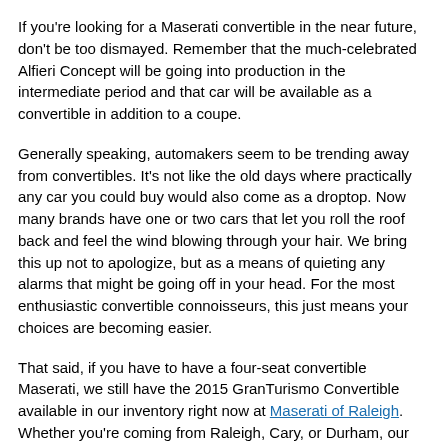If you're looking for a Maserati convertible in the near future, don't be too dismayed. Remember that the much-celebrated Alfieri Concept will be going into production in the intermediate period and that car will be available as a convertible in addition to a coupe.
Generally speaking, automakers seem to be trending away from convertibles. It's not like the old days where practically any car you could buy would also come as a droptop. Now many brands have one or two cars that let you roll the roof back and feel the wind blowing through your hair. We bring this up not to apologize, but as a means of quieting any alarms that might be going off in your head. For the most enthusiastic convertible connoisseurs, this just means your choices are becoming easier.
That said, if you have to have a four-seat convertible Maserati, we still have the 2015 GranTurismo Convertible available in our inventory right now at Maserati of Raleigh. Whether you're coming from Raleigh, Cary, or Durham, our dealership is your